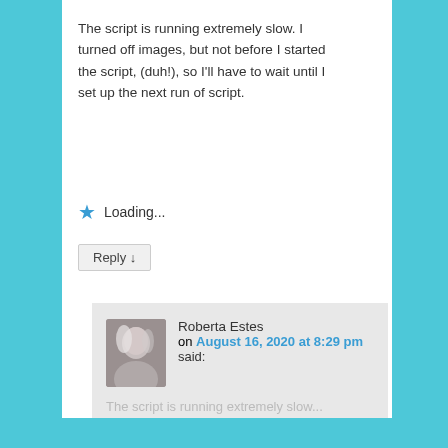The script is running extremely slow. I turned off images, but not before I started the script, (duh!), so I'll have to wait until I set up the next run of script.
Loading...
Reply ↓
Roberta Estes on August 16, 2020 at 8:29 pm said:
Privacy & Cookies: This site uses cookies. By continuing to use this website, you agree to their use.
To find out more, including how to control cookies, see here: Cookie Policy
Close and accept